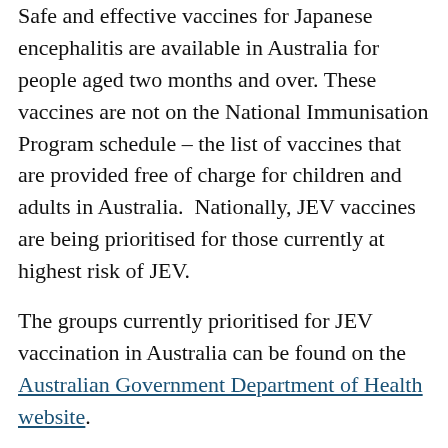Safe and effective vaccines for Japanese encephalitis are available in Australia for people aged two months and over. These vaccines are not on the National Immunisation Program schedule – the list of vaccines that are provided free of charge for children and adults in Australia.  Nationally, JEV vaccines are being prioritised for those currently at highest risk of JEV.
The groups currently prioritised for JEV vaccination in Australia can be found on the Australian Government Department of Health website.
ACT Health has sent a letter to eligible people (through their workplaces) advising on how to book in for a JEV vaccination. If you believe you are eligible for a JEV vaccination based on the current national priority groups, and have not received a letter through your workplace, you can either contact the